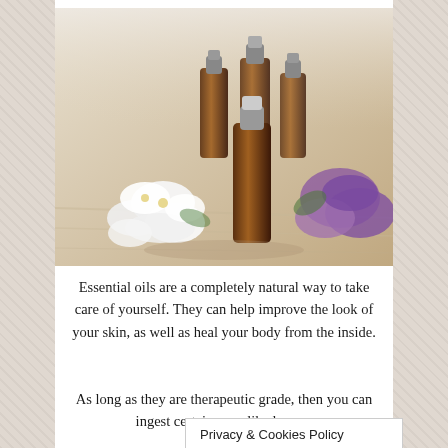[Figure (photo): Amber essential oil bottles with white and purple flowers on a wooden surface]
Essential oils are a completely natural way to take care of yourself. They can help improve the look of your skin, as well as heal your body from the inside.
As long as they are therapeutic grade, then you can ingest certain ones like lemon.
Privacy & Cookies Policy